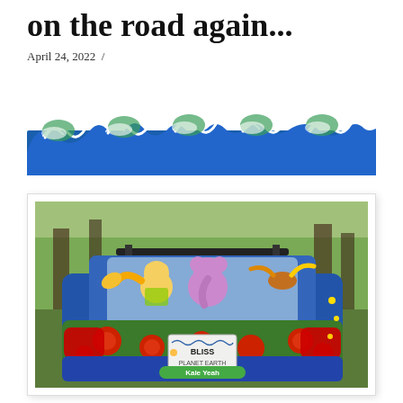on the road again...
April 24, 2022  /
[Figure (illustration): Decorative banner of painted ocean waves in blue and green, repeating wave pattern across the full width]
[Figure (photo): Rear view of a colorfully painted car parked on a dirt road surrounded by trees. The car is painted with a blue and green floral design with red poppies. The rear window has cartoon-like illustrated characters (a bear/Winnie the Pooh-like figure, an elephant, and a bird) overlaid. The license plate reads 'BLISS PLANET EARTH' and the bumper sticker reads 'Kale Yeah'.]